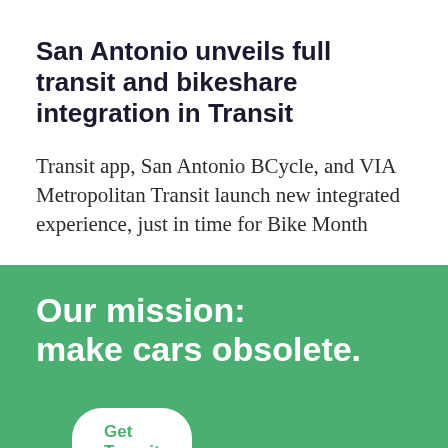San Antonio unveils full transit and bikeshare integration in Transit
Transit app, San Antonio BCycle, and VIA Metropolitan Transit launch new integrated experience, just in time for Bike Month
Our mission: make cars obsolete.
Get Transit